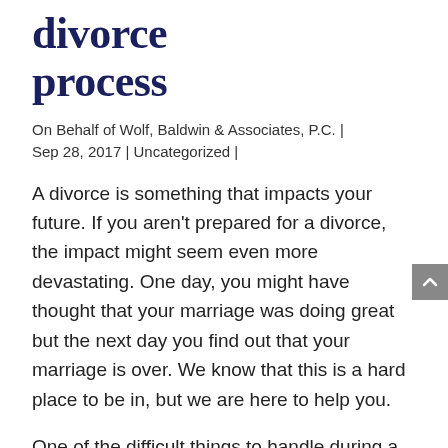divorce process
On Behalf of Wolf, Baldwin & Associates, P.C. | Sep 28, 2017 | Uncategorized |
A divorce is something that impacts your future. If you aren't prepared for a divorce, the impact might seem even more devastating. One day, you might have thought that your marriage was doing great but the next day you find out that your marriage is over. We know that this is a hard place to be in, but we are here to help you.
One of the difficult things to handle during a divorce is the division of property. If you have a